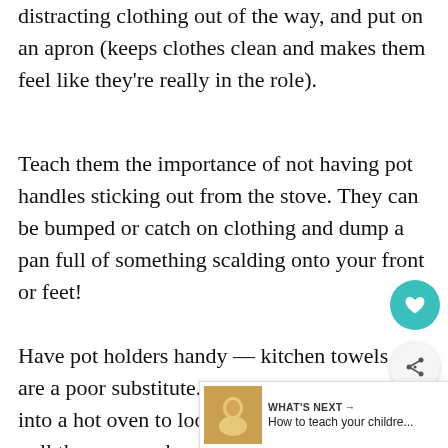distracting clothing out of the way, and put on an apron (keeps clothes clean and makes them feel like they're really in the role).
Teach them the importance of not having pot handles sticking out from the stove. They can be bumped or catch on clothing and dump a pan full of something scalding onto your front or feet!
Have pot holders handy — kitchen towels are a poor substitute. Warn them not to lean into a hot oven to look at something: always pull the oven rack out to yo...